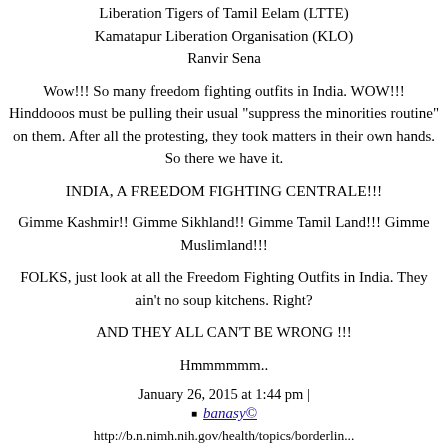Liberation Tigers of Tamil Eelam (LTTE)
Kamatapur Liberation Organisation (KLO)
Ranvir Sena
Wow!!! So many freedom fighting outfits in India. WOW!!!
Hinddooos must be pulling their usual "suppress the minorities routine" on them. After all the protesting, they took matters in their own hands. So there we have it.
INDIA, A FREEDOM FIGHTING CENTRALE!!!
Gimme Kashmir!! Gimme Sikhland!! Gimme Tamil Land!!! Gimme Muslimland!!!
FOLKS, just look at all the Freedom Fighting Outfits in India. They ain't no soup kitchens. Right?
AND THEY ALL CAN'T BE WRONG !!!
Hmmmmmm..
January 26, 2015 at 1:44 pm |
banasy©
http://b.n.nimh.nih.gov/health/topics/borderlin...